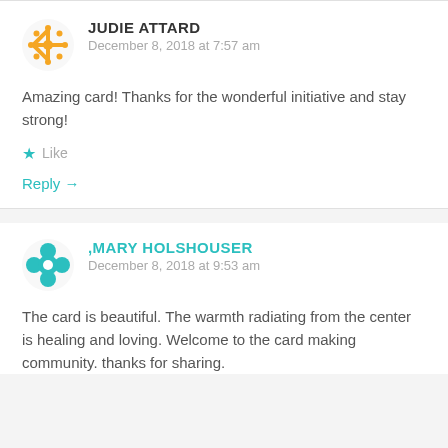JUDIE ATTARD
December 8, 2018 at 7:57 am
Amazing card! Thanks for the wonderful initiative and stay strong!
Like
Reply →
,MARY HOLSHOUSER
December 8, 2018 at 9:53 am
The card is beautiful. The warmth radiating from the center is healing and loving. Welcome to the card making community. thanks for sharing.